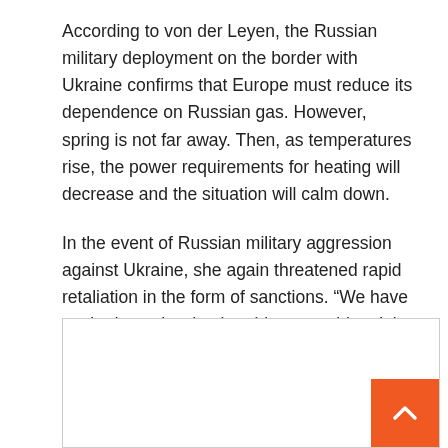According to von der Leyen, the Russian military deployment on the border with Ukraine confirms that Europe must reduce its dependence on Russian gas. However, spring is not far away. Then, as temperatures rise, the power requirements for heating will decrease and the situation will calm down.
In the event of Russian military aggression against Ukraine, she again threatened rapid retaliation in the form of sanctions. “We have worked very hard to be able to provide a joint answer with our partners within a few days,” von der Leyen said.
[Figure (other): A blank content box with an orange scroll-to-top button (chevron up arrow) in the bottom-right corner.]